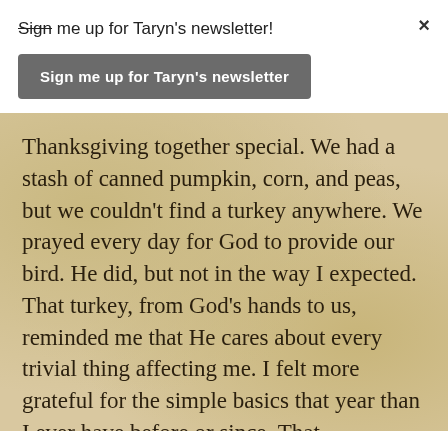Sign me up for Taryn's newsletter!
Sign me up for Taryn's newsletter
Thanksgiving together special. We had a stash of canned pumpkin, corn, and peas, but we couldn't find a turkey anywhere. We prayed every day for God to provide our bird. He did, but not in the way I expected. That turkey, from God's hands to us, reminded me that He cares about every trivial thing affecting me. I felt more grateful for the simple basics that year than I ever have before or since. That Thanksgiving, my team became family as we sat on beds and ate plain food served from cracked enamel pans. It